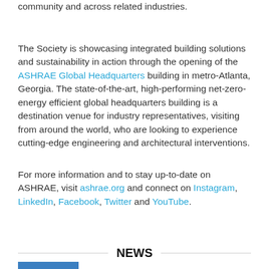community and across related industries.
The Society is showcasing integrated building solutions and sustainability in action through the opening of the ASHRAE Global Headquarters building in metro-Atlanta, Georgia. The state-of-the-art, high-performing net-zero-energy efficient global headquarters building is a destination venue for industry representatives, visiting from around the world, who are looking to experience cutting-edge engineering and architectural interventions.
For more information and to stay up-to-date on ASHRAE, visit ashrae.org and connect on Instagram, LinkedIn, Facebook, Twitter and YouTube.
← Back
NEWS
Society    Region    Chapter